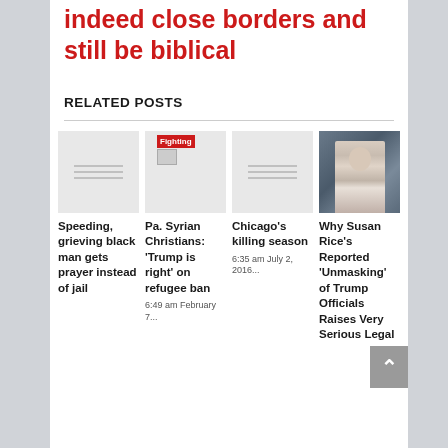indeed close borders and still be biblical
RELATED POSTS
Speeding, grieving black man gets prayer instead of jail
Pa. Syrian Christians: 'Trump is right' on refugee ban
6:49 am February 7...
Chicago's killing season
6:35 am July 2, 2016...
Why Susan Rice's Reported 'Unmasking' of Trump Officials Raises Very Serious Legal